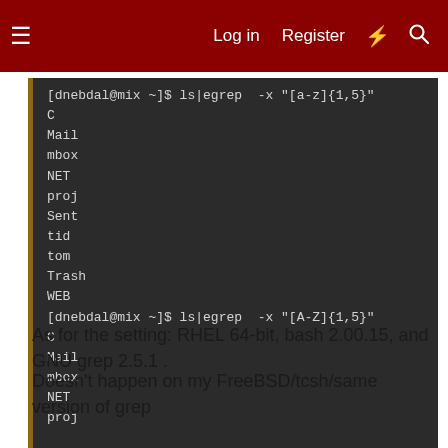Log in  Register
[Figure (screenshot): Terminal/code block showing ls|egrep commands and their output including file names C, Mail, mbox, NET, proj, Sent, tid, tom, Trash, WEB on dark background]
As for the setting: RHEL 64-bit, bash 2.00.15, and GNU grep 2.5.1 .
Doesn't happen on my FreeBSD/tcsh/same version of grep